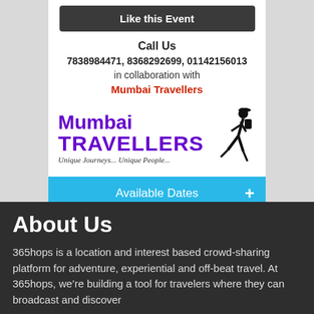Like this Event
Call Us
7838984471, 8368292699, 01142156013
in collaboration with
Mumbai Travellers
[Figure (logo): Mumbai Travellers logo with purple text reading 'Mumbai TRAVELLERS' and tagline 'Unique Journeys... Unique People...' alongside a silhouette of a person walking with a backpack]
Available Dates +
About Us
365hops is a location and interest based crowd-sharing platform for adventure, experiential and off-beat travel. At 365hops, we’re building a tool for travelers where they can broadcast and discover